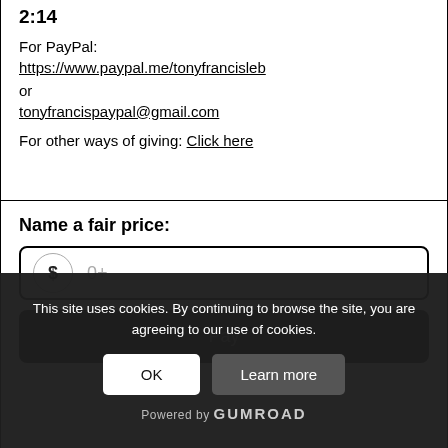2:14
For PayPal: https://www.paypal.me/tonyfrancisleb or tonyfrancispaypal@gmail.com
For other ways of giving: Click here
Name a fair price:
[Figure (other): Price input field with dollar circle icon showing '$' and placeholder text '0+']
[Figure (other): Dark Pay button]
This site uses cookies. By continuing to browse the site, you are agreeing to our use of cookies.
OK
Learn more
Powered by Gumroad